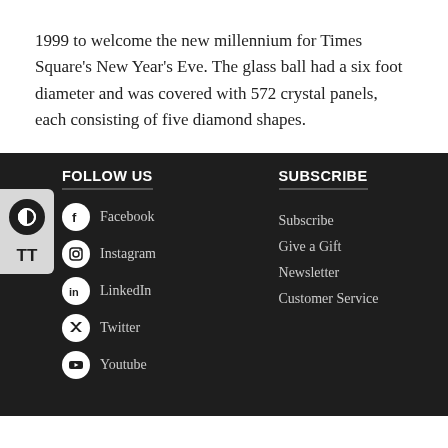1999 to welcome the new millennium for Times Square's New Year's Eve. The glass ball had a six foot diameter and was covered with 572 crystal panels, each consisting of five diamond shapes.
FOLLOW US: Facebook, Instagram, LinkedIn, Twitter, Youtube | SUBSCRIBE: Subscribe, Give a Gift, Newsletter, Customer Service